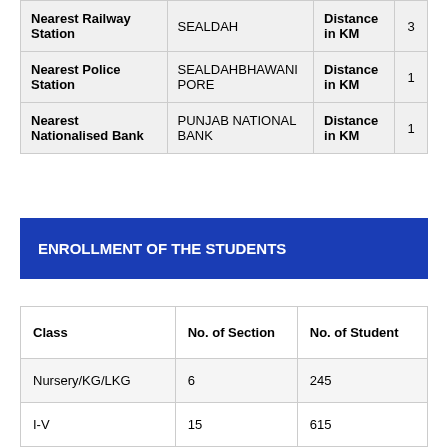|  |  | Distance in KM |  |
| --- | --- | --- | --- |
| Nearest Railway Station | SEALDAH | Distance in KM | 3 |
| Nearest Police Station | SEALDAHBHAWANIPORE | Distance in KM | 1 |
| Nearest Nationalised Bank | PUNJAB NATIONAL BANK | Distance in KM | 1 |
ENROLLMENT OF THE STUDENTS
| Class | No. of Section | No. of Student |
| --- | --- | --- |
| Nursery/KG/LKG | 6 | 245 |
| I-V | 15 | 615 |